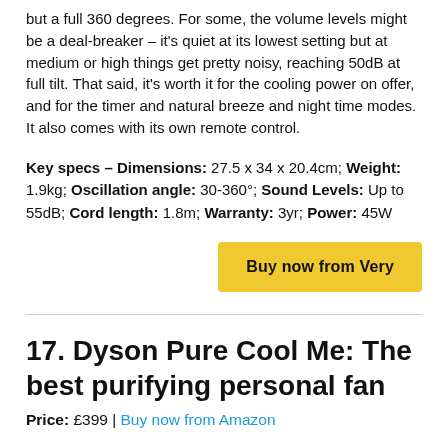but a full 360 degrees. For some, the volume levels might be a deal-breaker – it's quiet at its lowest setting but at medium or high things get pretty noisy, reaching 50dB at full tilt. That said, it's worth it for the cooling power on offer, and for the timer and natural breeze and night time modes. It also comes with its own remote control.
Key specs – Dimensions: 27.5 x 34 x 20.4cm; Weight: 1.9kg; Oscillation angle: 30-360°; Sound Levels: Up to 55dB; Cord length: 1.8m; Warranty: 3yr; Power: 45W
[Figure (other): Yellow 'Buy now from Very' button]
17. Dyson Pure Cool Me: The best purifying personal fan
Price: £399 | Buy now from Amazon